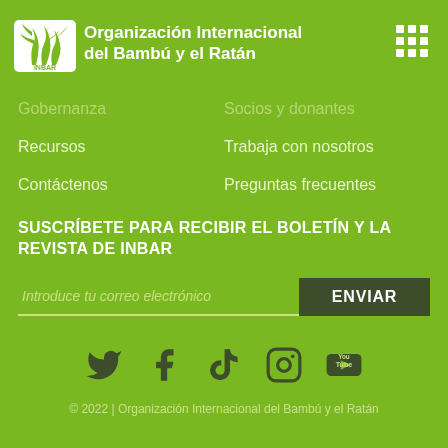[Figure (logo): INBAR logo — stylized bamboo/rattan plant in white with INBAR text below, on green background]
Organización Internacional del Bambú y el Ratán
Gobernanza
Socios y donantes
Recursos
Trabaja con nosotros
Contáctenos
Preguntas frecuentes
SUSCRÍBETE PARA RECIBIR EL BOLETÍN Y LA REVISTA DE INBAR
Introduce tu correo electrónico
ENVIAR
[Figure (infographic): Social media icons row: Twitter (bird), Facebook (f), TikTok, Instagram, YouTube — all in dark olive/green color]
© 2022 | Organización Internacional del Bambú y el Ratán